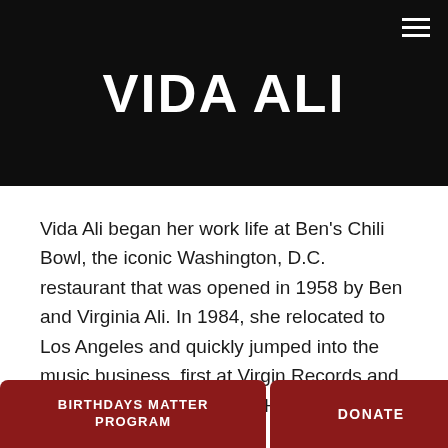[Figure (photo): Dark hero banner with semi-transparent overlay showing people in the background and a hamburger menu icon in the top right corner]
VIDA ALI
Vida Ali began her work life at Ben's Chili Bowl, the iconic Washington, D.C. restaurant that was opened in 1958 by Ben and Virginia Ali. In 1984, she relocated to Los Angeles and quickly jumped into the music business, first at Virgin Records and then at Capitol Records in Hollywood. In 1992, Vida left Capitol [Records in Hollywood/media/] [she kno...]
BIRTHDAYS MATTER PROGRAM | DONATE